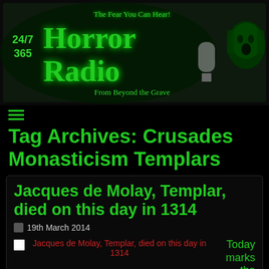[Figure (logo): Horror Radio banner logo with green text reading 'Horror Radio 24/7 365 - The Fear You Can Hear - From Beyond the Grave' with a green-tinted screaming face on the right]
≡
Tag Archives: Crusades Monasticism Templars
Jacques de Molay, Templar, died on this day in 1314
19th March 2014
Jacques de Molay, Templar, died on this day in 1314
Today marks the